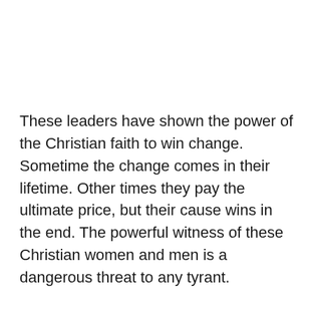These leaders have shown the power of the Christian faith to win change. Sometime the change comes in their lifetime. Other times they pay the ultimate price, but their cause wins in the end. The powerful witness of these Christian women and men is a dangerous threat to any tyrant.